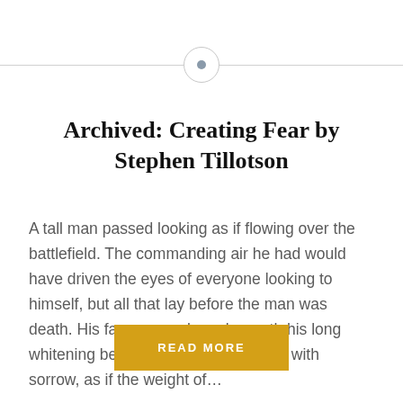[Figure (other): Horizontal divider with a circle icon in the center containing a small dot]
Archived: Creating Fear by Stephen Tillotson
A tall man passed looking as if flowing over the battlefield. The commanding air he had would have driven the eyes of everyone looking to himself, but all that lay before the man was death. His face was solemn beneath his long whitening beard. His eyes were deep with sorrow, as if the weight of…
READ MORE